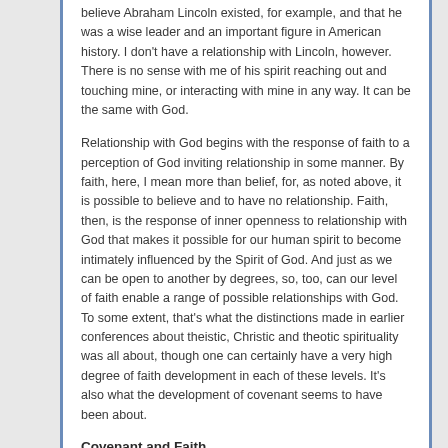believe Abraham Lincoln existed, for example, and that he was a wise leader and an important figure in American history. I don't have a relationship with Lincoln, however. There is no sense with me of his spirit reaching out and touching mine, or interacting with mine in any way. It can be the same with God.
Relationship with God begins with the response of faith to a perception of God inviting relationship in some manner. By faith, here, I mean more than belief, for, as noted above, it is possible to believe and to have no relationship. Faith, then, is the response of inner openness to relationship with God that makes it possible for our human spirit to become intimately influenced by the Spirit of God. And just as we can be open to another by degrees, so, too, can our level of faith enable a range of possible relationships with God. To some extent, that's what the distinctions made in earlier conferences about theistic, Christic and theotic spirituality was all about, though one can certainly have a very high degree of faith development in each of these levels. It's also what the development of covenant seems to have been about.
Covenant and Faith
One way to understand biblical history is in terms of a deepening covenant between God and the human race (albeit through the Hebrew people and Christ).